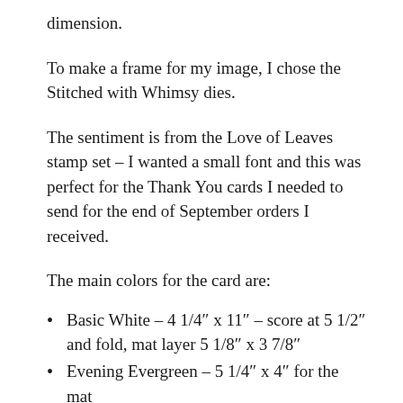dimension.
To make a frame for my image, I chose the Stitched with Whimsy dies.
The sentiment is from the Love of Leaves stamp set – I wanted a small font and this was perfect for the Thank You cards I needed to send for the end of September orders I received.
The main colors for the card are:
Basic White – 4 1/4″ x 11″ – score at 5 1/2″ and fold, mat layer 5 1/8″ x 3 7/8″
Evening Evergreen – 5 1/4″ x 4″ for the mat